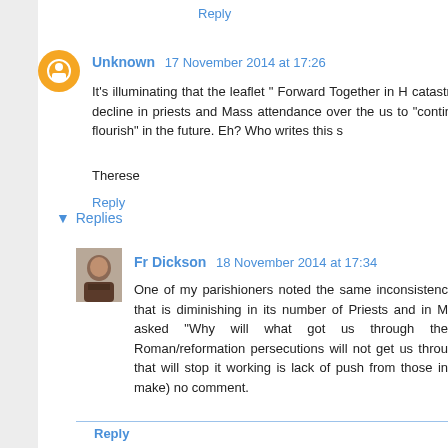Reply
Unknown  17 November 2014 at 17:26
It's illuminating that the leaflet " Forward Together in H... catastrophic decline in priests and Mass attendance over the... us to "continue to flourish" in the future. Eh? Who writes this s...
Therese
Reply
▾ Replies
Fr Dickson  18 November 2014 at 17:34
One of my parishioners noted the same inconsistenc... that is diminishing in its number of Priests and in M... asked "Why will what got us through the... Roman/reformation persecutions will not get us throu... that will stop it working is lack of push from those in... make) no comment.
Reply